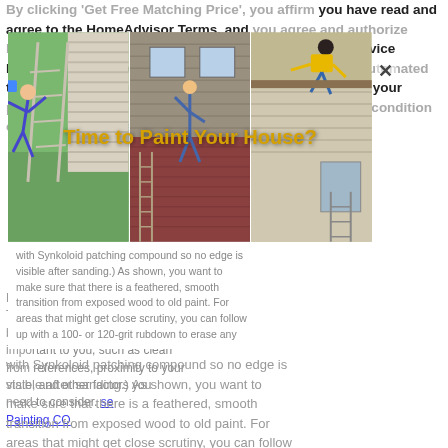By clicking 'Get Free Matching Price', you affirm you have read and agree to the HomeAdvisor Terms, and you agree and authorize HomeAdvisor and its affiliates, and their networks of Service Professionals, to deliver marketing calls or texts using automated technology to the number you provided above regarding your project and other home services offers. Consent is not a condition of purchase. House Painting Northglenn CO
Researching house painting Northglenn CO? These service providers will be determined by factors important to you, such as clean from references, proximity to your state, and other factors you need to consider. House Painting CO
[Figure (photo): Three photos of house painting accidents/situations: person falling off ladder, person climbing wall of house, person falling off roof. Overlay text: 'Time to Paint Your House?']
with Synkoloid patching compound so no edge is visible after sanding.) As shown, you want to make sure that there is a feathered, smooth transition from exposed wood to old paint. For areas that might get close scrutiny, you can follow up with a 100- or 120-grit rubdown to erase any